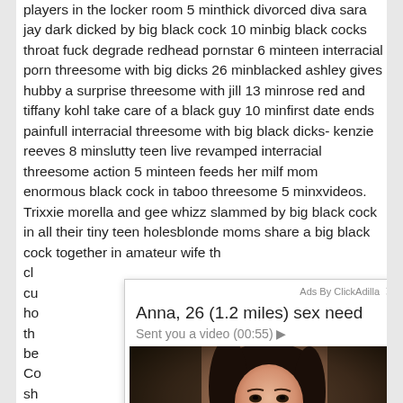players in the locker room 5 minthick divorced diva sara jay dark dicked by big black cock 10 minbig black cocks throat fuck degrade redhead pornstar 6 minteen interracial porn threesome with big dicks 26 minblacked ashley gives hubby a surprise threesome with jill 13 minrose red and tiffany kohl take care of a black guy 10 minfirst date ends painfull interracial threesome with big black dicks- kenzie reeves 8 minslutty teen live revamped interracial threesome action 5 minteen feeds her milf mom enormous black cock in taboo threesome 5 minxvideos. Trixxie morella and gee whizz slammed by big black cock in all their tiny teen holesblonde moms share a big black cock together in amateur wife th... cl... cu... ho... th... be... Co... sh... cr... wi...
[Figure (screenshot): Ad overlay from ClickAdilla showing a dating/adult ad. Header reads 'Ads By ClickAdilla' with close button X. Title: 'Anna, 26 (1.2 miles) sex need'. Subtitle: 'Sent you a video (00:55) ▶'. Below is a photo of a young woman with long dark hair taking a selfie in a car, wearing a white top.]